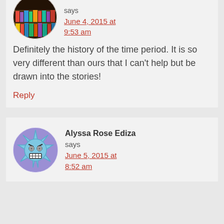[Figure (photo): Circular avatar showing a bookshelf with colorful books]
says
June 4, 2015 at 9:53 am
Definitely the history of the time period. It is so very different than ours that I can't help but be drawn into the stories!
Reply
[Figure (illustration): Circular avatar with a cartoon star-shaped angry face character on purple background]
Alyssa Rose Ediza says
June 5, 2015 at 8:52 am